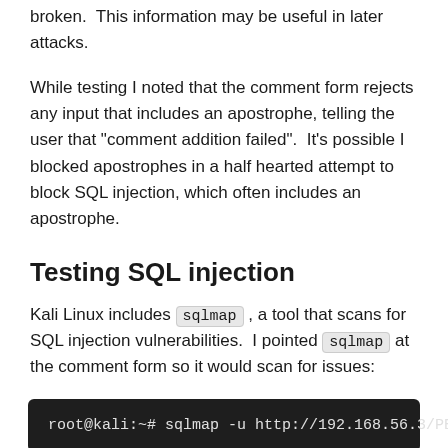broken.  This information may be useful in later attacks.
While testing I noted that the comment form rejects any input that includes an apostrophe, telling the user that "comment addition failed".  It's possible I blocked apostrophes in a half hearted attempt to block SQL injection, which often includes an apostrophe.
Testing SQL injection
Kali Linux includes sqlmap , a tool that scans for SQL injection vulnerabilities.  I pointed sqlmap at the comment form so it would scan for issues:
[Figure (screenshot): Terminal window showing command: root@kali:~# sqlmap -u http://192.168.56.3/PER...]